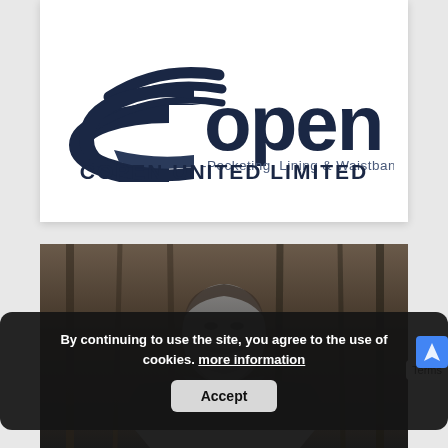[Figure (logo): Copen United Limited logo — dark navy stylized 'C' ring/band shape on the left, 'open' text to the right, subtitle '-Pocketing, Lining & Waistband-' below logo mark, company name 'COPEN UNITED LIMITED' in bold capitals at bottom]
[Figure (photo): Black and white photograph of a bearded man, partially visible, with dark curtain/fabric background]
By continuing to use the site, you agree to the use of cookies. more information